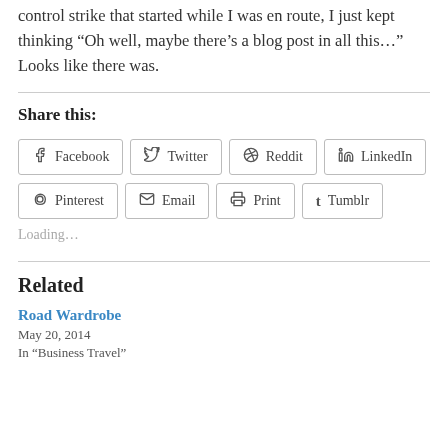control strike that started while I was en route, I just kept thinking “Oh well, maybe there’s a blog post in all this…” Looks like there was.
Share this:
Facebook | Twitter | Reddit | LinkedIn | Pinterest | Email | Print | Tumblr
Loading…
Related
Road Wardrobe
May 20, 2014
In “Business Travel”